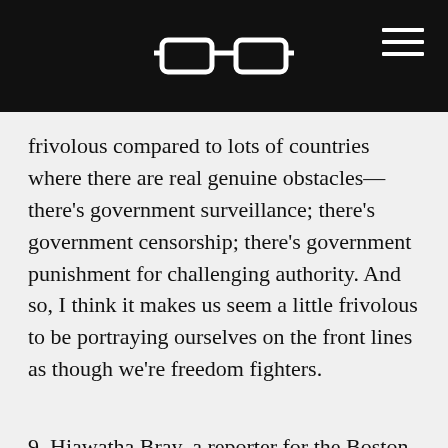[glasses logo] [hamburger menu]
frivolous compared to lots of countries where there are real genuine obstacles—there's government surveillance; there's government censorship; there's government punishment for challenging authority. And so, I think it makes us seem a little frivolous to be portraying ourselves on the front lines as though we're freedom fighters.
9. Hiawatha Bray, a reporter for the Boston Globe business section, April 26, 2018, reacting to John Harris at my Facebook page.